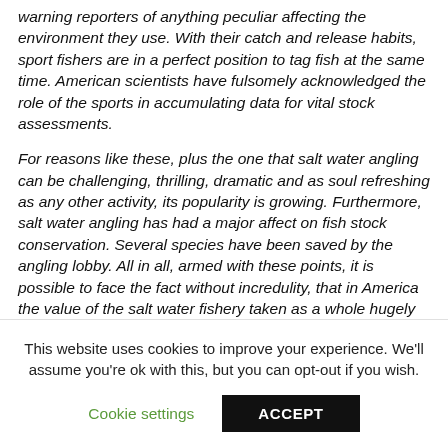warning reporters of anything peculiar affecting the environment they use. With their catch and release habits, sport fishers are in a perfect position to tag fish at the same time. American scientists have fulsomely acknowledged the role of the sports in accumulating data for vital stock assessments.
For reasons like these, plus the one that salt water angling can be challenging, thrilling, dramatic and as soul refreshing as any other activity, its popularity is growing. Furthermore, salt water angling has had a major affect on fish stock conservation. Several species have been saved by the angling lobby. All in all, armed with these points, it is possible to face the fact without incredulity, that in America the value of the salt water fishery taken as a whole hugely exceeds that of the entire American
This website uses cookies to improve your experience. We'll assume you're ok with this, but you can opt-out if you wish.
Cookie settings    ACCEPT